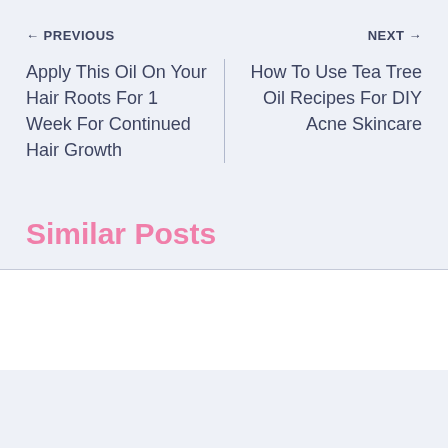← PREVIOUS
NEXT →
Apply This Oil On Your Hair Roots For 1 Week For Continued Hair Growth
How To Use Tea Tree Oil Recipes For DIY Acne Skincare
Similar Posts